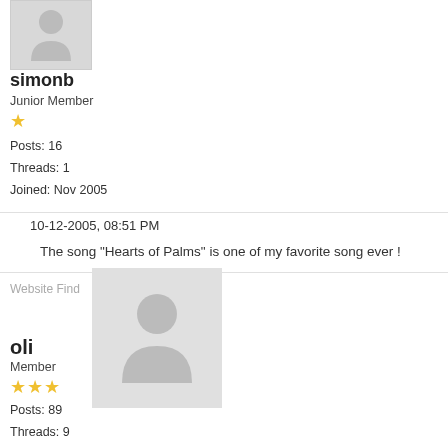[Figure (illustration): Default silhouette avatar placeholder for user simonb, small size, gray background]
simonb
Junior Member
[Figure (illustration): One gold star rating icon]
Posts: 16
Threads: 1
Joined: Nov 2005
10-12-2005, 08:51 PM
The song "Hearts of Palms" is one of my favorite song ever !
Website Find
[Figure (illustration): Default silhouette avatar placeholder for user oli, medium size, gray background]
oli
Member
[Figure (illustration): Three gold star rating icons]
Posts: 89
Threads: 9
Joined: Nov 2005
12-12-2005, 05:25 PM
youhou !!